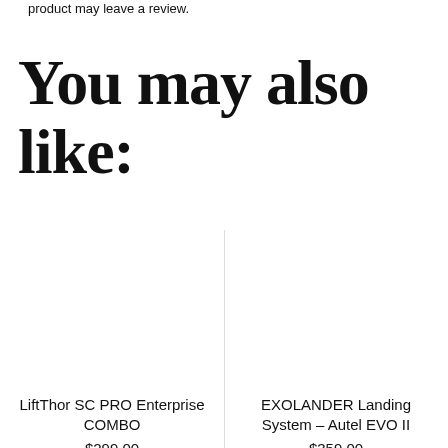product may leave a review.
You may also like:
LiftThor SC PRO Enterprise COMBO
$299.00
EXOLANDER Landing System – Autel EVO II
$359.00